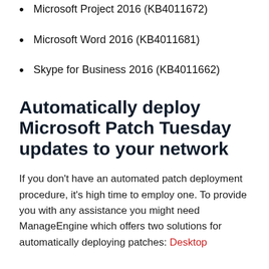Microsoft Project 2016 (KB4011672)
Microsoft Word 2016 (KB4011681)
Skype for Business 2016 (KB4011662)
Automatically deploy Microsoft Patch Tuesday updates to your network
If you don't have an automated patch deployment procedure, it's high time to employ one. To provide you with any assistance you might need ManageEngine which offers two solutions for automatically deploying patches: Desktop...